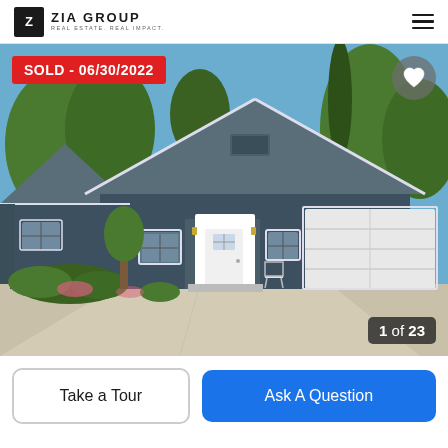ZIA GROUP — REAL ESTATE. REAL IMPACT.
[Figure (photo): Exterior photo of a single-story residential home with dark gray/blue siding, white trim, white front door, two-car garage, concrete driveway, and green trees in background. Overlaid with a red 'SOLD - 06/30/2022' badge, a heart icon button, and '1 of 23' photo counter.]
SOLD - 06/30/2022
1 of 23
Take a Tour
Ask A Question